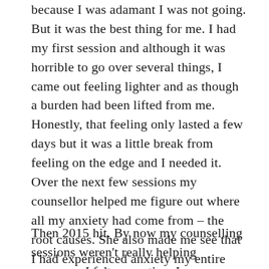because I was adamant I was not going. But it was the best thing for me. I had my first session and although it was horrible to go over several things, I came out feeling lighter and as though a burden had been lifted from me. Honestly, that feeling only lasted a few days but it was a little break from feeling on the edge and I needed it. Over the next few sessions my counsellor helped me figure out where all my anxiety had come from – the root causes. She also made me see that I had experienced anxiety my entire life. It was difficult to deal with. It felt like I was reprogramming my brain and reprocessing everything that had happened throughout my life. But it did help. Initially anyway.
Then 2015 hit. By now my counselling sessions weren't really helping anymore. I felt every time I went it just repeatedly brought the same issues...